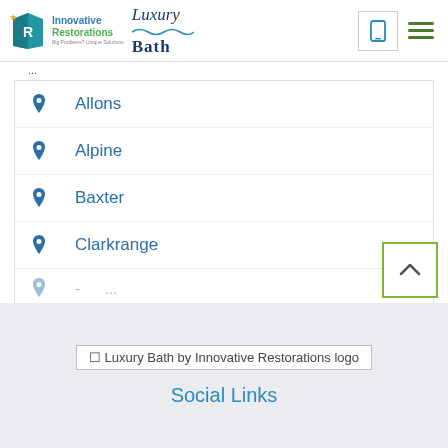[Figure (logo): Innovative Restorations logo with stylized icon and text 'Innovative Restorations Big Problems? Unique Solutions']
[Figure (logo): Luxury Bath logo with wave graphic]
[Figure (logo): Mobile phone icon button]
[Figure (logo): Hamburger menu icon]
Allons
Alpine
Baxter
Clarkrange
+ View All Cities
[Figure (other): Luxury Bath by Innovative Restorations logo placeholder image with alt text]
Social Links